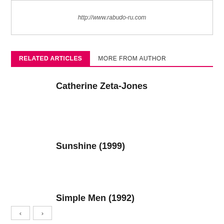http://www.rabudo-ru.com
RELATED ARTICLES	MORE FROM AUTHOR
Catherine Zeta-Jones
Sunshine (1999)
Simple Men (1992)